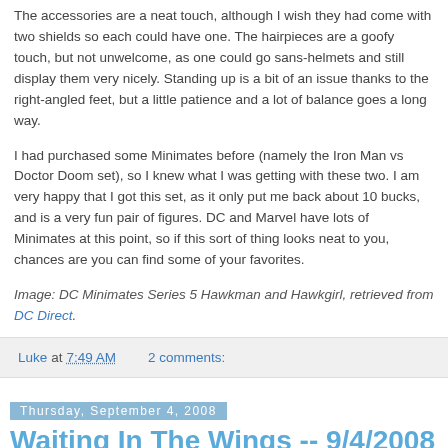The accessories are a neat touch, although I wish they had come with two shields so each could have one. The hairpieces are a goofy touch, but not unwelcome, as one could go sans-helmets and still display them very nicely. Standing up is a bit of an issue thanks to the right-angled feet, but a little patience and a lot of balance goes a long way.
I had purchased some Minimates before (namely the Iron Man vs Doctor Doom set), so I knew what I was getting with these two. I am very happy that I got this set, as it only put me back about 10 bucks, and is a very fun pair of figures. DC and Marvel have lots of Minimates at this point, so if this sort of thing looks neat to you, chances are you can find some of your favorites.
Image: DC Minimates Series 5 Hawkman and Hawkgirl, retrieved from DC Direct.
Luke at 7:49 AM    2 comments:
Thursday, September 4, 2008
Waiting In The Wings -- 9/4/2008